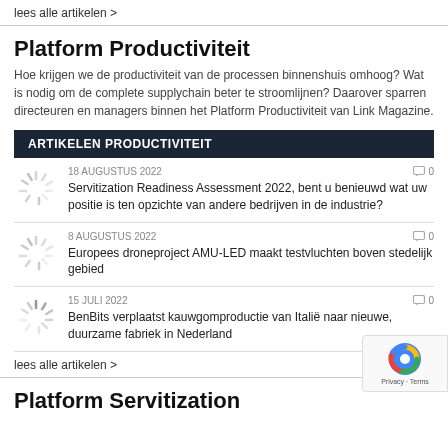lees alle artikelen >
Platform Productiviteit
Hoe krijgen we de productiviteit van de processen binnenshuis omhoog? Wat is nodig om de complete supplychain beter te stroomlijnen? Daarover sparren directeuren en managers binnen het Platform Productiviteit van Link Magazine.
ARTIKELEN PRODUCTIVITEIT
18 AUGUSTUS 2022
Servitization Readiness Assessment 2022, bent u benieuwd wat uw positie is ten opzichte van andere bedrijven in de industrie?
8 AUGUSTUS 2022
Europees droneproject AMU-LED maakt testvluchten boven stedelijk gebied
15 JULI 2022
BenBits verplaatst kauwgomproductie van Italië naar nieuwe, duurzame fabriek in Nederland
lees alle artikelen >
Platform Servitization